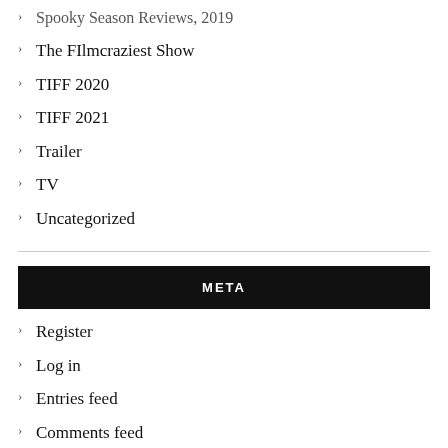Spooky Season Reviews, 2019
The FIlmcraziest Show
TIFF 2020
TIFF 2021
Trailer
TV
Uncategorized
META
Register
Log in
Entries feed
Comments feed
WordPress.com
Enter your email address to subscribe to this blog and receive